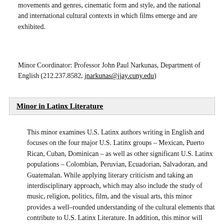movements and genres, cinematic form and style, and the national and international cultural contexts in which films emerge and are exhibited.
Minor Coordinator: Professor John Paul Narkunas, Department of English (212.237.8582, jnarkunas@jjay.cuny.edu)
Minor in Latinx Literature
This minor examines U.S. Latinx authors writing in English and focuses on the four major U.S. Latinx groups – Mexican, Puerto Rican, Cuban, Dominican – as well as other significant U.S. Latinx populations – Colombian, Peruvian, Ecuadorian, Salvadoran, and Guatemalan. While applying literary criticism and taking an interdisciplinary approach, which may also include the study of music, religion, politics, film, and the visual arts, this minor provides a well–rounded understanding of the cultural elements that contribute to U.S. Latinx Literature. In addition, this minor will enable students to develop the critical reading and writing skills essential for graduate study and careers in the law, education, public policy, writing, and government. Among the broad issues this minor will address include the following: